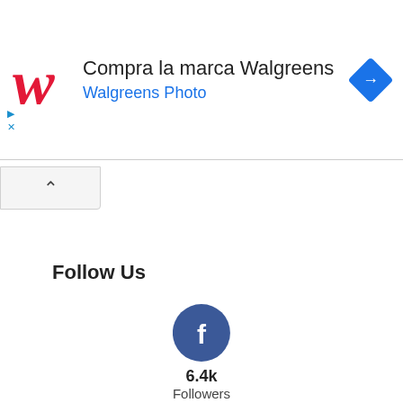[Figure (screenshot): Walgreens advertisement banner with red cursive W logo, text 'Compra la marca Walgreens' and 'Walgreens Photo' in blue, and a blue diamond navigation icon on the right]
[Figure (screenshot): Collapse/hide button with upward chevron arrow]
Follow Us
[Figure (infographic): Facebook circle icon (dark blue) with 6.4k Followers count below]
[Figure (infographic): Twitter circle icon (blue) with 13.2k Followers count below]
[Figure (infographic): YouTube circle icon (dark red) with 13.5k Followers count below]
[Figure (infographic): Instagram circle icon (steel blue) partially visible at bottom]